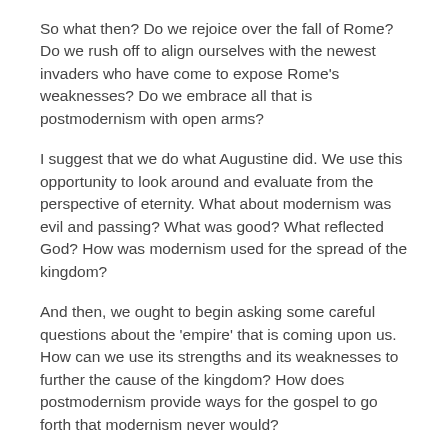So what then? Do we rejoice over the fall of Rome? Do we rush off to align ourselves with the newest invaders who have come to expose Rome's weaknesses? Do we embrace all that is postmodernism with open arms?
I suggest that we do what Augustine did. We use this opportunity to look around and evaluate from the perspective of eternity. What about modernism was evil and passing? What was good? What reflected God? How was modernism used for the spread of the kingdom?
And then, we ought to begin asking some careful questions about the 'empire' that is coming upon us. How can we use its strengths and its weaknesses to further the cause of the kingdom? How does postmodernism provide ways for the gospel to go forth that modernism never would?